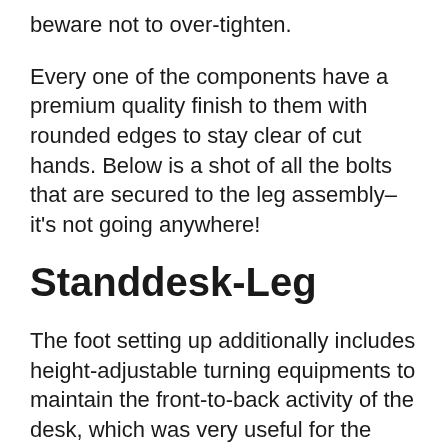beware not to over-tighten.
Every one of the components have a premium quality finish to them with rounded edges to stay clear of cut hands. Below is a shot of all the bolts that are secured to the leg assembly– it's not going anywhere!
Standdesk-Leg
The foot setting up additionally includes height-adjustable turning equipments to maintain the front-to-back activity of the desk, which was very useful for the carpeted office flooring. I'm also utilizing a flooring mat to shield the rug from chair wheel damages at resting elevation, and also push the chair when I'm transitioning to standing